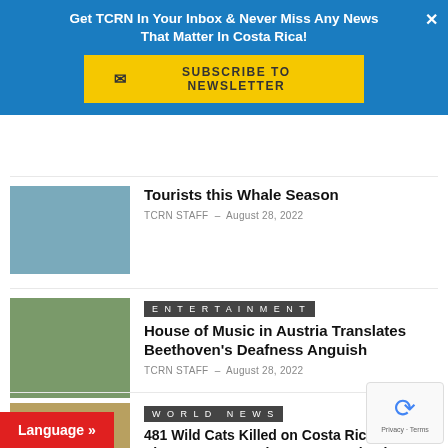Get TCRN In Your Inbox & Never Miss Any News That Matter In Costa Rica!
SUBSCRIBE TO NEWSLETTER
[Figure (photo): Ocean scene with boat partial view]
Tourists this Whale Season
TCRN STAFF - August 28, 2022
ENTERTAINMENT
[Figure (photo): Stone statue face surrounded by green foliage]
House of Music in Austria Translates Beethoven’s Deafness Anguish
TCRN STAFF - August 28, 2022
WORLD NEWS
[Figure (photo): Jaguar/leopard resting on a branch in the jungle]
481 Wild Cats Killed on Costa Rica Roads Since 2011; Meet the Unsung Scientist Rerouting their Future
N STAFF - August 29, 2022
Language »